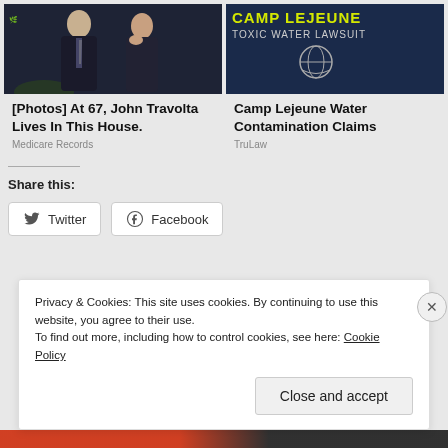[Figure (photo): Two men in dark suits, one with a patterned tie, photographed against a dark/blue background.]
[Figure (photo): Camp Lejeune Toxic Water Lawsuit advertisement with yellow text on dark blue background with globe/military emblem.]
[Photos] At 67, John Travolta Lives In This House.
Medicare Records
Camp Lejeune Water Contamination Claims
TruLaw
Share this:
Twitter
Facebook
Privacy & Cookies: This site uses cookies. By continuing to use this website, you agree to their use.
To find out more, including how to control cookies, see here: Cookie Policy
Close and accept